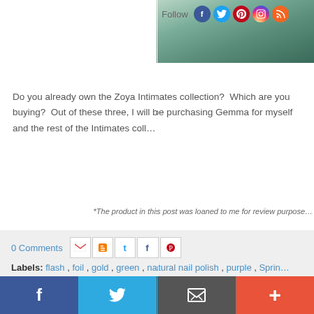[Figure (screenshot): Partial top image showing nail polish on skin, with Follow social media icons (Facebook, Twitter, Pinterest, Instagram, RSS)]
Do you already own the Zoya Intimates collection?  Which are you buying?  Out of these three, I will be purchasing Gemma for myself and the rest of the Intimates coll...
*The product in this post was loaned to me for review purposes...
0 Comments
Labels: flash , foil , gold , green , natural nail polish , purple , Sprin...
23 February 2011
[Figure (infographic): Bottom social sharing bar with Facebook (blue), Twitter (light blue), Email/envelope (grey), and Plus (orange-red) buttons]